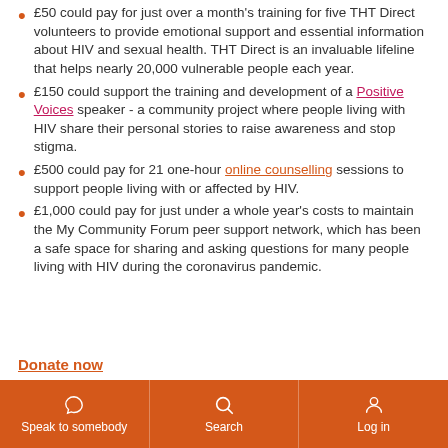£50 could pay for just over a month's training for five THT Direct volunteers to provide emotional support and essential information about HIV and sexual health. THT Direct is an invaluable lifeline that helps nearly 20,000 vulnerable people each year.
£150 could support the training and development of a Positive Voices speaker - a community project where people living with HIV share their personal stories to raise awareness and stop stigma.
£500 could pay for 21 one-hour online counselling sessions to support people living with or affected by HIV.
£1,000 could pay for just under a whole year's costs to maintain the My Community Forum peer support network, which has been a safe space for sharing and asking questions for many people living with HIV during the coronavirus pandemic.
Donate now
Speak to somebody | Search | Log in